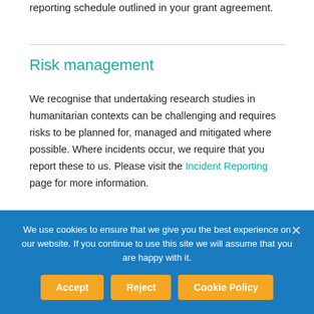reporting schedule outlined in your grant agreement.
Risk management
We recognise that undertaking research studies in humanitarian contexts can be challenging and requires risks to be planned for, managed and mitigated where possible. Where incidents occur, we require that you report these to us. Please visit the Incident Reporting page for more information.
We use cookies to ensure that we give you the best experience on our website. If you continue to use this site we will assume that you are happy with it.